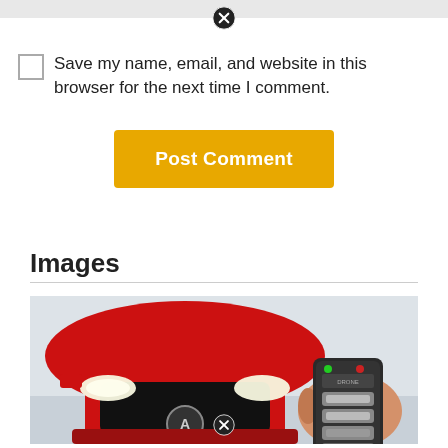[Figure (screenshot): Top gray bar with close/error icon (X in circle)]
Save my name, email, and website in this browser for the next time I comment.
Post Comment
Images
[Figure (photo): Photo of a red Acura car front view with a person holding a remote key fob, with a close/delete icon at the bottom center]